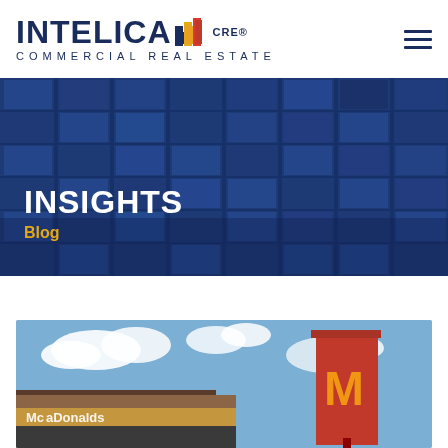[Figure (logo): Intelica CRE Commercial Real Estate logo with colored bar chart icon]
[Figure (photo): Blue glass office building facade hero image with grid window pattern]
INSIGHTS
Blog
[Figure (photo): McDonald's restaurant exterior showing the golden arches sign and storefront]